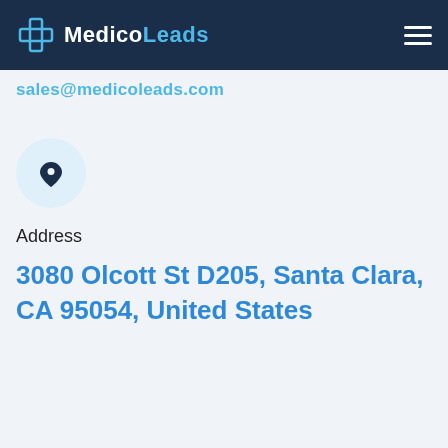MedicoLeads
sales@medicoleads.com
[Figure (illustration): Location pin icon inside a light blue circle]
Address
3080 Olcott St D205, Santa Clara, CA 95054, United States